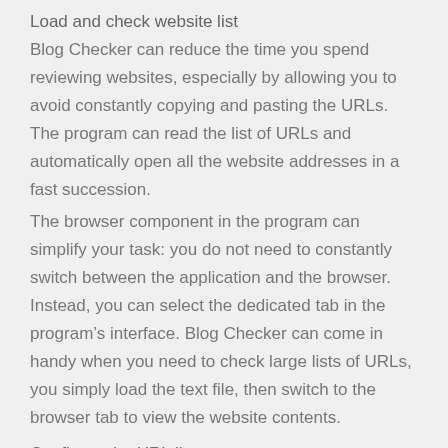Load and check website list
Blog Checker can reduce the time you spend reviewing websites, especially by allowing you to avoid constantly copying and pasting the URLs. The program can read the list of URLs and automatically open all the website addresses in a fast succession.
The browser component in the program can simplify your task: you do not need to constantly switch between the application and the browser. Instead, you can select the dedicated tab in the program’s interface. Blog Checker can come in handy when you need to check large lists of URLs, you simply load the text file, then switch to the browser tab to view the website contents.
Configure the URL lists
Blog Checker requires a minimal configuration before you can start the website viewing. Thus, the Categories tab